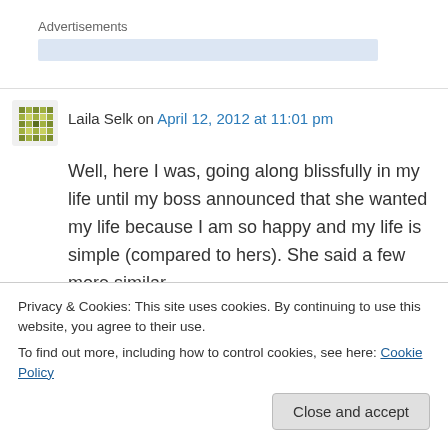Advertisements
Laila Selk on April 12, 2012 at 11:01 pm
Well, here I was, going along blissfully in my life until my boss announced that she wanted my life because I am so happy and my life is simple (compared to hers). She said a few more similar
Privacy & Cookies: This site uses cookies. By continuing to use this website, you agree to their use.
To find out more, including how to control cookies, see here: Cookie Policy
Close and accept